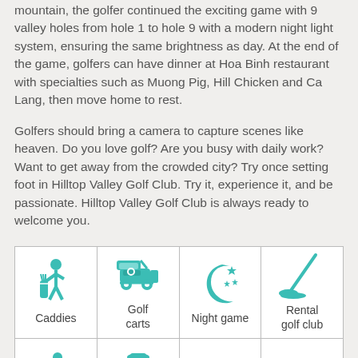mountain, the golfer continued the exciting game with 9 valley holes from hole 1 to hole 9 with a modern night light system, ensuring the same brightness as day. At the end of the game, golfers can have dinner at Hoa Binh restaurant with specialties such as Muong Pig, Hill Chicken and Ca Lang, then move home to rest.
Golfers should bring a camera to capture scenes like heaven. Do you love golf? Are you busy with daily work? Want to get away from the crowded city? Try once setting foot in Hilltop Valley Golf Club. Try it, experience it, and be passionate. Hilltop Valley Golf Club is always ready to welcome you.
| Caddies | Golf carts | Night game | Rental golf club |
|  |  |  |  |